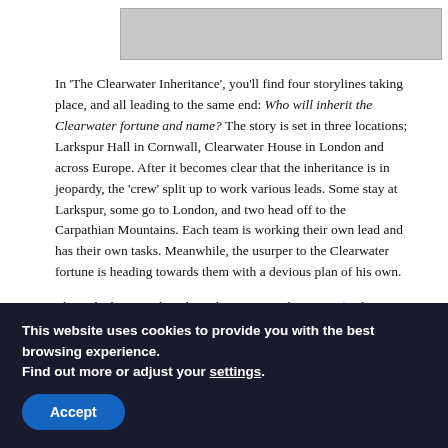[Figure (photo): Partial image visible at top of page, appears to be a grayscale photograph of a building or landscape scene]
In 'The Clearwater Inheritance', you'll find four storylines taking place, and all leading to the same end: Who will inherit the Clearwater fortune and name? The story is set in three locations; Larkspur Hall in Cornwall, Clearwater House in London and across Europe. After it becomes clear that the inheritance is in jeopardy, the 'crew' split up to work various leads. Some stay at Larkspur, some go to London, and two head off to the Carpathian Mountains. Each team is working their own lead and has their own tasks. Meanwhile, the usurper to the Clearwater fortune is heading towards them with a devious plan of his own.
That's the basic outline, but Clearwater's inheritance (and
This website uses cookies to provide you with the best browsing experience.
Find out more or adjust your settings.
Accept